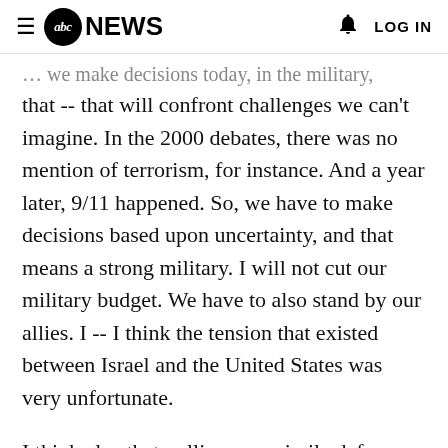≡ abc NEWS  🔔  LOG IN
... we make decisions today, in the military, that -- that will confront challenges we can't imagine. In the 2000 debates, there was no mention of terrorism, for instance. And a year later, 9/11 happened. So, we have to make decisions based upon uncertainty, and that means a strong military. I will not cut our military budget. We have to also stand by our allies. I -- I think the tension that existed between Israel and the United States was very unfortunate.
I think also that pulling our missile defense program out of Poland in the way we did was also unfortunate in terms of, if you will,